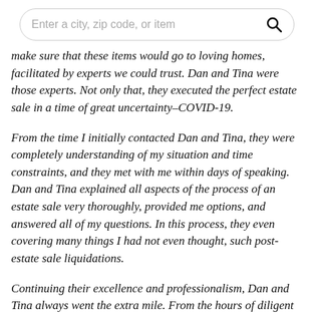[Figure (screenshot): Search bar with placeholder text 'Enter a city, zip code, or item' and a search icon on the right]
make sure that these items would go to loving homes, facilitated by experts we could trust. Dan and Tina were those experts. Not only that, they executed the perfect estate sale in a time of great uncertainty–COVID-19.
From the time I initially contacted Dan and Tina, they were completely understanding of my situation and time constraints, and they met with me within days of speaking. Dan and Tina explained all aspects of the process of an estate sale very thoroughly, provided me options, and answered all of my questions. In this process, they even covering many things I had not even thought, such post-estate sale liquidations.
Continuing their excellence and professionalism, Dan and Tina always went the extra mile. From the hours of diligent ...